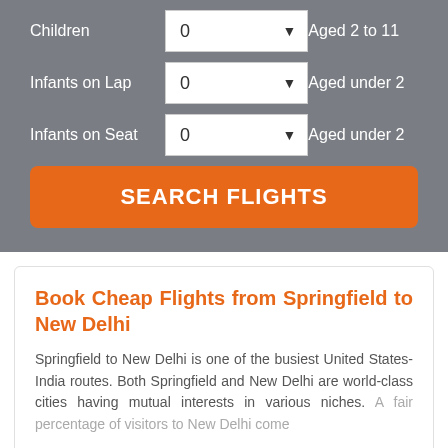Children
0
Aged 2 to 11
Infants on Lap
0
Aged under 2
Infants on Seat
0
Aged under 2
SEARCH FLIGHTS
Book Cheap Flights from Springfield to New Delhi
Springfield to New Delhi is one of the busiest United States-India routes. Both Springfield and New Delhi are world-class cities having mutual interests in various niches. A fair percentage of visitors to New Delhi come
Read More ∨